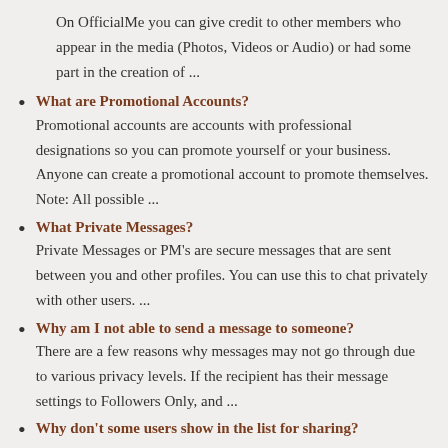On OfficialMe you can give credit to other members who appear in the media (Photos, Videos or Audio) or had some part in the creation of ...
What are Promotional Accounts?
Promotional accounts are accounts with professional designations so you can promote yourself or your business. Anyone can create a promotional account to promote themselves.  Note: All possible ...
What Private Messages?
Private Messages or PM's are secure messages that are sent between you and other profiles. You can use this to chat privately with other users. ...
Why am I not able to send a message to someone?
There are a few reasons why messages may not go through due to various privacy levels.  If the recipient has their message settings to Followers Only, and ...
Why don't some users show in the list for sharing?